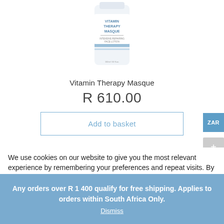[Figure (photo): Product image of Vitamin Therapy Masque bottle, white cylindrical container with blue label details, partially cropped at top]
Vitamin Therapy Masque
R 610.00
Add to basket
ZAR
We use cookies on our website to give you the most relevant experience by remembering your preferences and repeat visits. By clicking “Accept All”, you consent to the use of ALL the cookies. However, you may visit "Cookie Settings" to provide a controlled consent.
Any orders over R 1 400 qualify for free shipping. Applies to orders within South Africa Only.
Dismiss